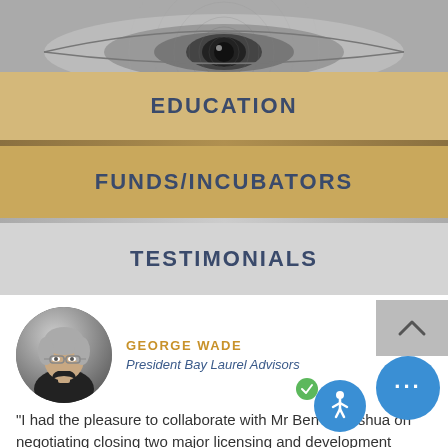[Figure (photo): Background banner image showing a close-up of an eye on a dollar bill, grayscale]
EDUCATION
FUNDS/INCUBATORS
TESTIMONIALS
[Figure (photo): Circular cropped profile photo of George Wade, a middle-aged man with gray hair and glasses wearing a black turtleneck]
GEORGE WADE
President Bay Laurel Advisors
"I had the pleasure to collaborate with Mr Ben-Yehoshua on negotiating closing two major licensing and development agreements between Chinese development companies and major United States